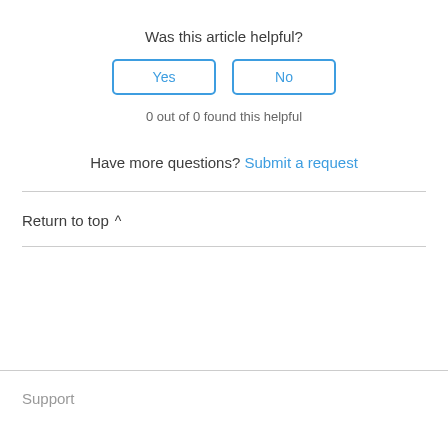Was this article helpful?
Yes | No
0 out of 0 found this helpful
Have more questions? Submit a request
Return to top ∧
Support